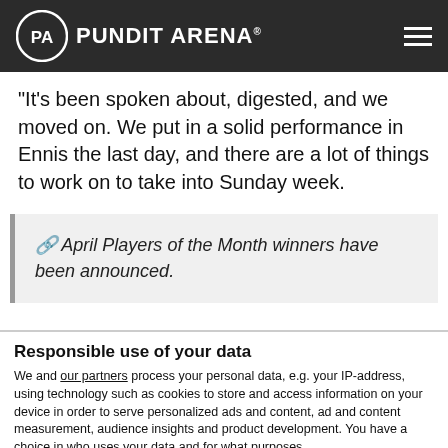PUNDIT ARENA
“It’s been spoken about, digested, and we moved on. We put in a solid performance in Ennis the last day, and there are a lot of things to work on to take into Sunday week.
🔗 April Players of the Month winners have been announced.
Responsible use of your data
We and our partners process your personal data, e.g. your IP-address, using technology such as cookies to store and access information on your device in order to serve personalized ads and content, ad and content measurement, audience insights and product development. You have a choice in who uses your data and for what purposes.
If you allow, we would also like to:
Collect information about your geographical location which can be